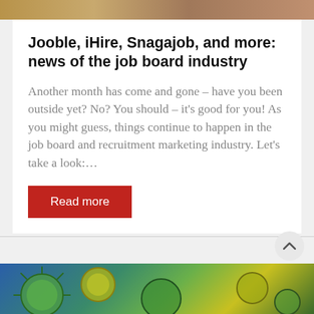[Figure (photo): Top portion of an article image, partially cropped, warm tones]
Jooble, iHire, Snagajob, and more: news of the job board industry
Another month has come and gone – have you been outside yet? No? You should – it's good for you! As you might guess, things continue to happen in the job board and recruitment marketing industry. Let's take a look:…
Read more
[Figure (photo): Bottom portion of another article image showing green and yellow virus/cell-like shapes on a blue background, partially cropped]